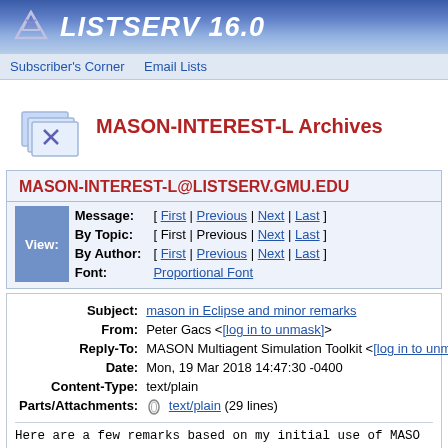LISTSERV 16.0
Subscriber's Corner   Email Lists
MASON-INTEREST-L Archives
MASON-INTEREST-L@LISTSERV.GMU.EDU
| View: | Field | Links |
| --- | --- | --- |
| Message: | [ First | Previous | Next | Last ] |
| By Topic: | [ First | Previous | Next | Last ] |
| By Author: | [ First | Previous | Next | Last ] |
| Font: | Proportional Font |
| Field | Value |
| --- | --- |
| Subject: | mason in Eclipse and minor remarks |
| From: | Peter Gacs <[log in to unmask]> |
| Reply-To: | MASON Multiagent Simulation Toolkit <[log in to unmask]> |
| Date: | Mon, 19 Mar 2018 14:47:30 -0400 |
| Content-Type: | text/plain |
| Parts/Attachments: | text/plain (29 lines) |
Here are a few remarks based on my initial use of MASO